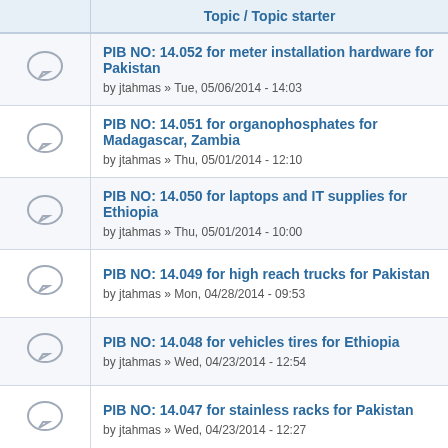|  | Topic / Topic starter |
| --- | --- |
| [icon] | PIB NO: 14.052 for meter installation hardware for Pakistan
by jtahmas » Tue, 05/06/2014 - 14:03 |
| [icon] | PIB NO: 14.051 for organophosphates for Madagascar, Zambia
by jtahmas » Thu, 05/01/2014 - 12:10 |
| [icon] | PIB NO: 14.050 for laptops and IT supplies for Ethiopia
by jtahmas » Thu, 05/01/2014 - 10:00 |
| [icon] | PIB NO: 14.049 for high reach trucks for Pakistan
by jtahmas » Mon, 04/28/2014 - 09:53 |
| [icon] | PIB NO: 14.048 for vehicles tires for Ethiopia
by jtahmas » Wed, 04/23/2014 - 12:54 |
| [icon] | PIB NO: 14.047 for stainless racks for Pakistan
by jtahmas » Wed, 04/23/2014 - 12:27 |
| [icon] | PIB NO: 14.046 for plastic pallets for Pakistan
by jtahmas » Wed, 04/23/2014 - 12:21 |
| [icon] | PIB NO: 14.045 for the supply and installation of IT equipment t
by jtahmas » ... |